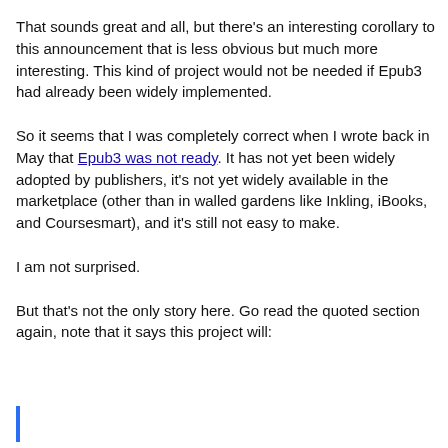That sounds great and all, but there's an interesting corollary to this announcement that is less obvious but much more interesting. This kind of project would not be needed if Epub3 had already been widely implemented.
So it seems that I was completely correct when I wrote back in May that Epub3 was not ready. It has not yet been widely adopted by publishers, it's not yet widely available in the marketplace (other than in walled gardens like Inkling, iBooks, and Coursesmart), and it's still not easy to make.
I am not surprised.
But that's not the only story here. Go read the quoted section again, note that it says this project will: